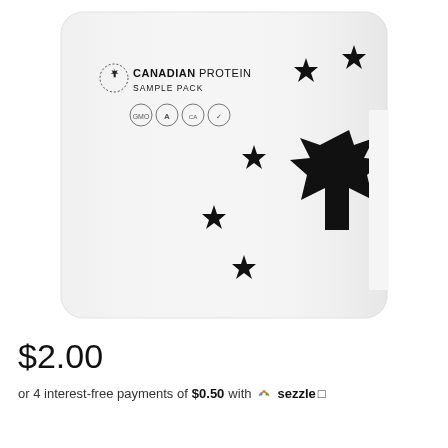[Figure (photo): White resealable pouch product packaging for Canadian Protein Sample Pack, featuring black maple leaf graphic and black stars scattered across the front, with logo and certification icons at top left.]
$2.00
or 4 interest-free payments of $0.50 with Sezzle ☐